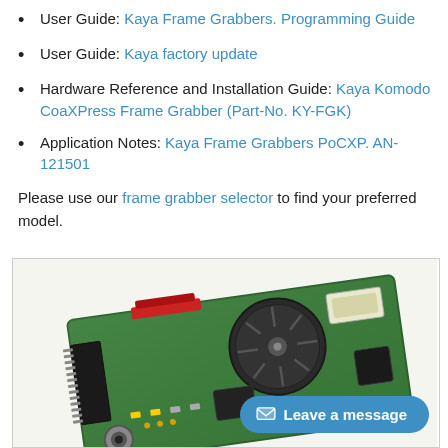User Guide: Kaya Frame Grabbers. Programming Guide
User Guide: Kaya factory update
Hardware Reference and Installation Guide: Kaya Komodo CoaXPress Frame Grabber (Part-No. KY-FGK)
Application Notes: Kaya Frame Grabbers PoCXP. AN-121501
Please use our frame grabber selector to find your preferred model.
[Figure (photo): Photo of a Kaya Komodo CoaXPress Frame Grabber PCB board with a fan cooler, green PCB, connectors and chips visible. A blue 'Leave a message' chat button is overlaid at the bottom right.]